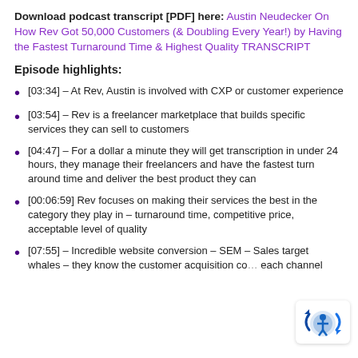Download podcast transcript [PDF] here: Austin Neudecker On How Rev Got 50,000 Customers (& Doubling Every Year!) by Having the Fastest Turnaround Time & Highest Quality TRANSCRIPT
Episode highlights:
[03:34] – At Rev, Austin is involved with CXP or customer experience
[03:54] – Rev is a freelancer marketplace that builds specific services they can sell to customers
[04:47] – For a dollar a minute they will get transcription in under 24 hours, they manage their freelancers and have the fastest turn around time and deliver the best product they can
[00:06:59] Rev focuses on making their services the best in the category they play in – turnaround time, competitive price, acceptable level of quality
[07:55] – Incredible website conversion – SEM – Sales target whales – they know the customer acquisition cost for each channel